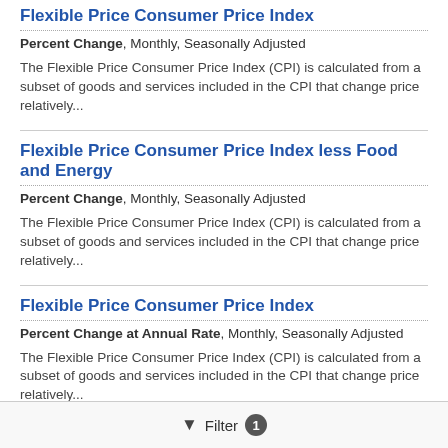Flexible Price Consumer Price Index
Percent Change, Monthly, Seasonally Adjusted
The Flexible Price Consumer Price Index (CPI) is calculated from a subset of goods and services included in the CPI that change price relatively...
Flexible Price Consumer Price Index less Food and Energy
Percent Change, Monthly, Seasonally Adjusted
The Flexible Price Consumer Price Index (CPI) is calculated from a subset of goods and services included in the CPI that change price relatively...
Flexible Price Consumer Price Index
Percent Change at Annual Rate, Monthly, Seasonally Adjusted
The Flexible Price Consumer Price Index (CPI) is calculated from a subset of goods and services included in the CPI that change price relatively...
Filter 1